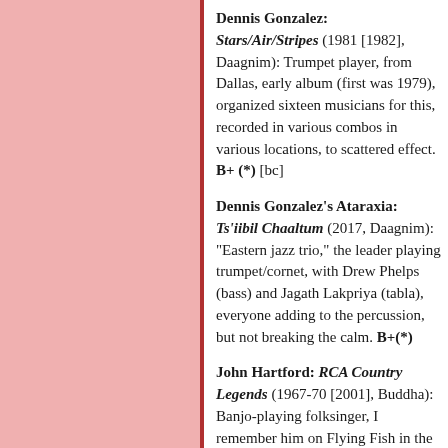Dennis Gonzalez: Stars/Air/Stripes (1981 [1982], Daagnim): Trumpet player, from Dallas, early album (first was 1979), organized sixteen musicians for this, recorded in various combos in various locations, to scattered effect. B+ (*) [bc]
Dennis Gonzalez's Ataraxia: Ts'iibil Chaaltum (2017, Daagnim): "Eastern jazz trio," the leader playing trumpet/cornet, with Drew Phelps (bass) and Jagath Lakpriya (tabla), everyone adding to the percussion, but not breaking the calm. B+(*)
John Hartford: RCA Country Legends (1967-70 [2001], Buddha): Banjo-playing folksinger, I remember him on Flying Fish in the 1970s, but he